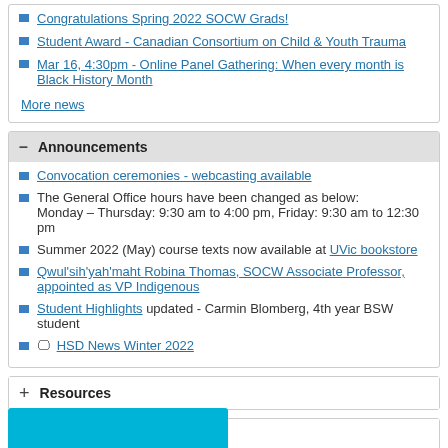Congratulations Spring 2022 SOCW Grads!
Student Award - Canadian Consortium on Child & Youth Trauma
Mar 16, 4:30pm - Online Panel Gathering: When every month is Black History Month
More news
− Announcements
Convocation ceremonies - webcasting available
The General Office hours have been changed as below: Monday – Thursday: 9:30 am to 4:00 pm, Friday: 9:30 am to 12:30 pm
Summer 2022 (May) course texts now available at UVic bookstore
Qwul'sih'yah'maht Robina Thomas, SOCW Associate Professor, appointed as VP Indigenous
Student Highlights updated - Carmin Blomberg, 4th year BSW student
🖥 HSD News Winter 2022
+ Resources
+ External links